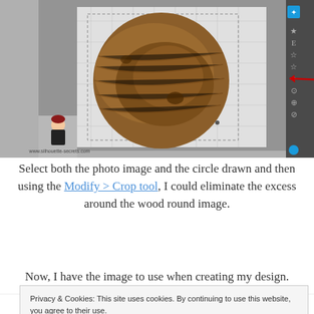[Figure (screenshot): Screenshot of Silhouette software showing a circular wood photo with a crop tool menu open, with red arrows pointing to relevant menu items. Website watermark: www.silhouette-secrets.com]
Select both the photo image and the circle drawn and then using the Modify > Crop tool, I could eliminate the excess around the wood round image.
Now, I have the image to use when creating my design.
Privacy & Cookies: This site uses cookies. By continuing to use this website, you agree to their use.
To find out more, including how to control cookies, see here: Cookie Policy
Close and accept
add to the file, the larger it is, so make sure that you save